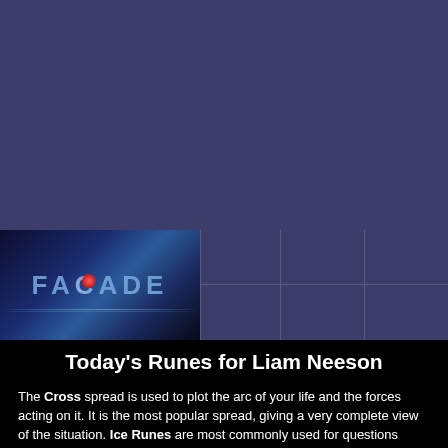[Figure (other): Website header banner with dark blue/purple gradient background]
[Figure (logo): FACADE logo with glowing red dot, blue gradient background with light streaks, navigation cells on the right]
Today's Runes for Liam Neeson
The Cross spread is used to plot the arc of your life and the forces acting on it. It is the most popular spread, giving a very complete view of the situation. Ice Runes are most commonly used for questions about struggle, conflict, and achievement.
The left rune represents an important element of the past. R represents cattle the Norse symbol of wealth. This rune has some interesting implications based on the fact that cattle, unlike land, move about of their own accord. Cattle also reproduce, so this rune often speaks of wealth that renews or perpetuates itself. Wealth takes many forms, but this rune generally represents the value that is purely material or monetary in nature. Alternatively, this rune is deeply associated with Frey, and hence can be the